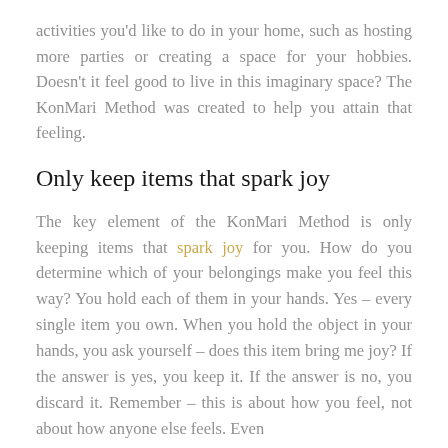activities you'd like to do in your home, such as hosting more parties or creating a space for your hobbies. Doesn't it feel good to live in this imaginary space? The KonMari Method was created to help you attain that feeling.
Only keep items that spark joy
The key element of the KonMari Method is only keeping items that spark joy for you. How do you determine which of your belongings make you feel this way? You hold each of them in your hands. Yes – every single item you own. When you hold the object in your hands, you ask yourself – does this item bring me joy? If the answer is yes, you keep it. If the answer is no, you discard it. Remember – this is about how you feel, not about how anyone else feels. Even